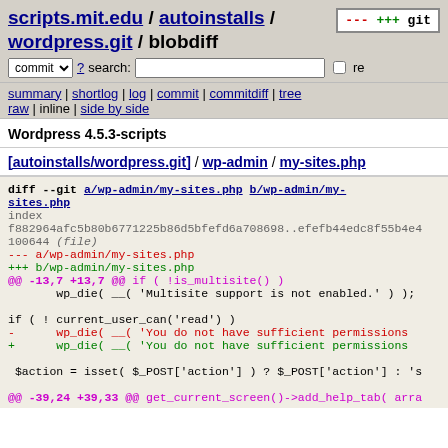scripts.mit.edu / autoinstalls / wordpress.git / blobdiff
summary | shortlog | log | commit | commitdiff | tree
raw | inline | side by side
Wordpress 4.5.3-scripts
[autoinstalls/wordpress.git] / wp-admin / my-sites.php
diff --git a/wp-admin/my-sites.php b/wp-admin/my-sites.php
index f882964afc5b80b6771225b86d5bfefd6a708698..efefb44edc8f55b4e4
100644 (file)
--- a/wp-admin/my-sites.php
+++ b/wp-admin/my-sites.php
@@ -13,7 +13,7 @@ if ( !is_multisite() )
        wp_die( __( 'Multisite support is not enabled.' ) );

 if ( ! current_user_can('read') )
-       wp_die( __( 'You do not have sufficient permissions
+       wp_die( __( 'You do not have sufficient permissions

 $action = isset( $_POST['action'] ) ? $_POST['action'] : 's

@@ -39,24 +39,33 @@ get_current_screen()->add_help_tab( arra